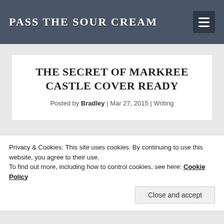PASS THE SOUR CREAM
THE SECRET OF MARKREE CASTLE COVER READY
Posted by Bradley | Mar 27, 2015 | Writing
Privacy & Cookies: This site uses cookies. By continuing to use this website, you agree to their use.
To find out more, including how to control cookies, see here: Cookie Policy
Close and accept